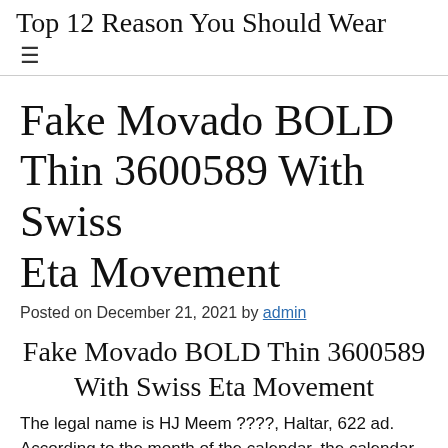Top 12 Reason You Should Wear [...]
Fake Movado BOLD Thin 3600589 With Swiss Eta Movement
Posted on December 21, 2021 by admin
Fake Movado BOLD Thin 3600589 With Swiss Eta Movement
The legal name is HJ Meem ????, Haltar, 622 ad. According to the month of the calendar, the calendar is an fake gold and diamond watches ordinary day. Our stone